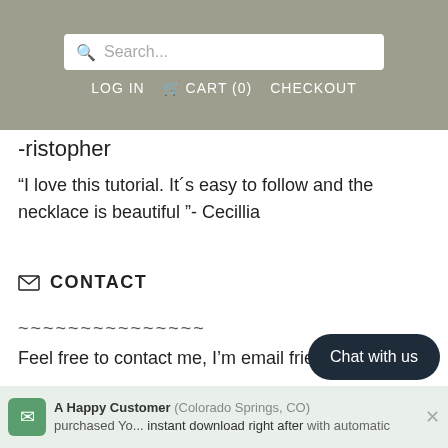Search... LOG IN CART (0) CHECKOUT
-ristopher
“I love this tutorial. It´s easy to follow and the necklace is beautiful ”- Cecillia
✉ CONTACT
~~~~~~~~~~~~~~~
Feel free to contact me, I’m email friendly
➜ SHIPPING
~~~~~~~~~~~~~~~
Chat with us
A Happy Customer (Colorado Springs, CO) purchased You... instant download right after with automatic